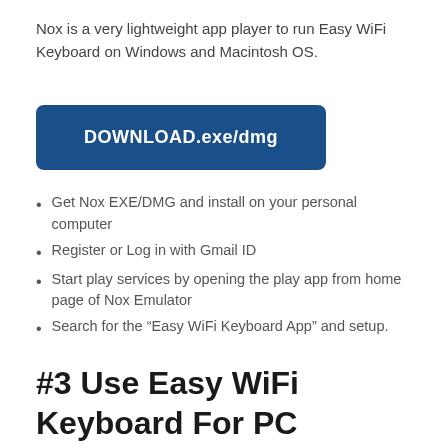Nox is a very lightweight app player to run Easy WiFi Keyboard on Windows and Macintosh OS.
[Figure (other): Blue download button with text 'DOWNLOAD.exe/dmg']
Get Nox EXE/DMG and install on your personal computer
Register or Log in with Gmail ID
Start play services by opening the play app from home page of Nox Emulator
Search for the “Easy WiFi Keyboard App” and setup.
#3 Use Easy WiFi Keyboard For PC Without BlueStacks & Nox